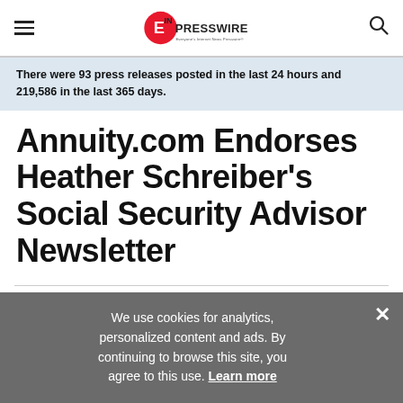EIN Presswire — Everyone's Internet News Presswire
There were 93 press releases posted in the last 24 hours and 219,586 in the last 365 days.
Annuity.com Endorses Heather Schreiber's Social Security Advisor Newsletter
We use cookies for analytics, personalized content and ads. By continuing to browse this site, you agree to this use. Learn more